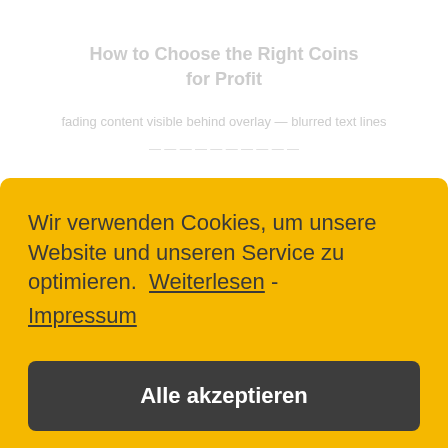How to Choose the Right Coins for Profit
faded background text (partially visible)
Wir verwenden Cookies, um unsere Website und unseren Service zu optimieren. Weiterlesen - Impressum
Alle akzeptieren
Nur funktionale Cookies
Einstellungen anzeigen